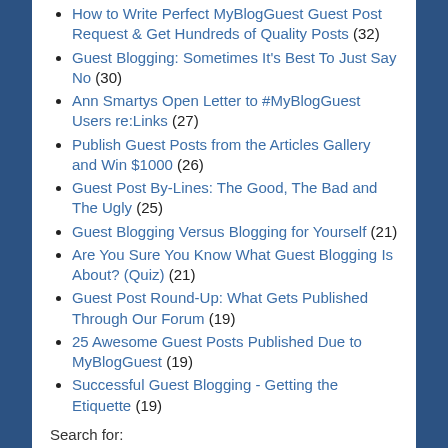How to Write Perfect MyBlogGuest Guest Post Request & Get Hundreds of Quality Posts (32)
Guest Blogging: Sometimes It's Best To Just Say No (30)
Ann Smartys Open Letter to #MyBlogGuest Users re:Links (27)
Publish Guest Posts from the Articles Gallery and Win $1000 (26)
Guest Post By-Lines: The Good, The Bad and The Ugly (25)
Guest Blogging Versus Blogging for Yourself (21)
Are You Sure You Know What Guest Blogging Is About? (Quiz) (21)
Guest Post Round-Up: What Gets Published Through Our Forum (19)
25 Awesome Guest Posts Published Due to MyBlogGuest (19)
Successful Guest Blogging - Getting the Etiquette (19)
Search for: